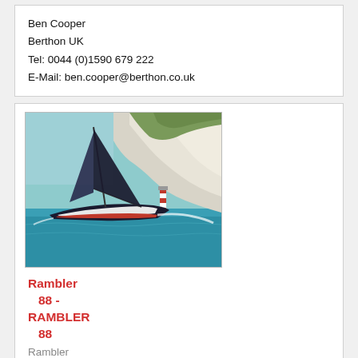Ben Cooper
Berthon UK
Tel: 0044 (0)1590 679 222
E-Mail: ben.cooper@berthon.co.uk
[Figure (photo): A racing sailboat with dark sails sailing on turquoise water in front of white chalk cliffs, likely The Needles near the Isle of Wight.]
Rambler 88 - RAMBLER 88
Rambler 88
For Sale